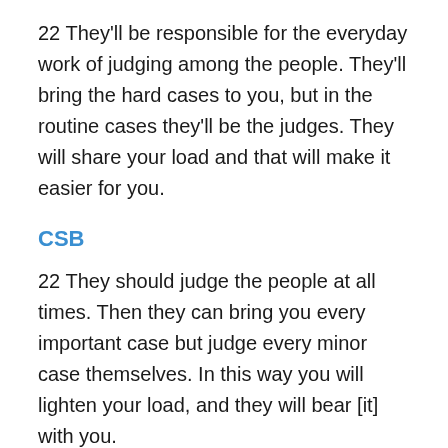22 They'll be responsible for the everyday work of judging among the people. They'll bring the hard cases to you, but in the routine cases they'll be the judges. They will share your load and that will make it easier for you.
CSB
22 They should judge the people at all times. Then they can bring you every important case but judge every minor case themselves. In this way you will lighten your load, and they will bear [it] with you.